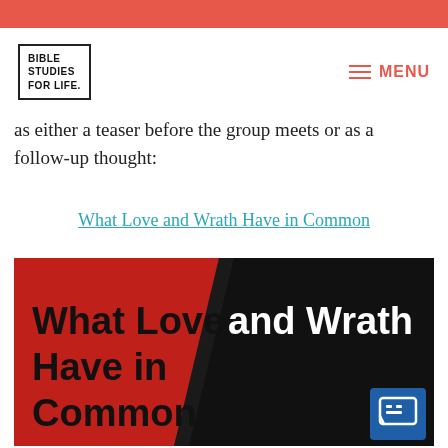BIBLE STUDIES FOR LIFE | MENU
as either a teaser before the group meets or as a follow-up thought:
What Love and Wrath Have in Common
[Figure (illustration): Split red and black background image with bold white and black text reading 'What Love and Wrath Have in Common']